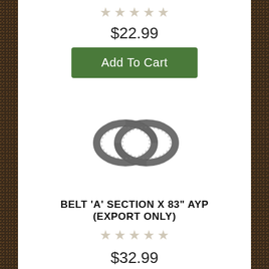[Figure (other): Five star rating icons (empty/grey stars) for first product]
$22.99
Add To Cart
[Figure (photo): Two interlocked rubber drive belts coiled together, dark grey/black color]
BELT 'A' SECTION X 83" AYP (EXPORT ONLY)
[Figure (other): Five star rating icons (empty/grey stars) for second product]
$32.99
Add To Cart